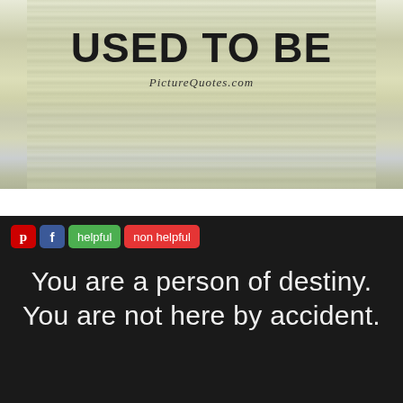[Figure (illustration): Quote image with light greenish-beige bamboo/grass background texture showing bold text 'USED TO BE' and italic attribution 'PictureQuotes.com']
[Figure (screenshot): Dark background quote image with social sharing toolbar (Pinterest, Facebook, helpful, non helpful buttons) and white text reading 'You are a person of destiny. You are not here by accident.']